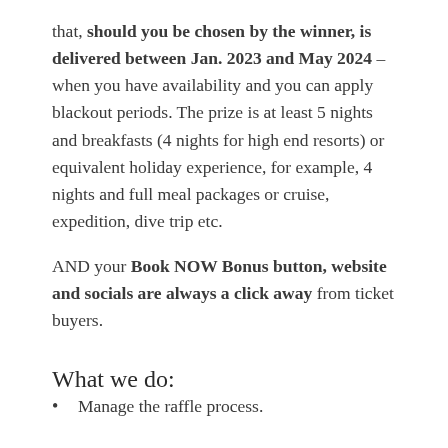that, should you be chosen by the winner, is delivered between Jan. 2023 and May 2024 – when you have availability and you can apply blackout periods. The prize is at least 5 nights and breakfasts (4 nights for high end resorts) or equivalent holiday experience, for example, 4 nights and full meal packages or cruise, expedition, dive trip etc.
AND your Book NOW Bonus button, website and socials are always a click away from ticket buyers.
What we do:
Manage the raffle process.